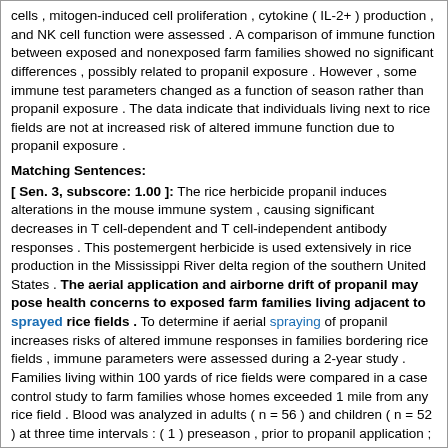cells , mitogen-induced cell proliferation , cytokine ( IL-2+ ) production , and NK cell function were assessed . A comparison of immune function between exposed and nonexposed farm families showed no significant differences , possibly related to propanil exposure . However , some immune test parameters changed as a function of season rather than propanil exposure . The data indicate that individuals living next to rice fields are not at increased risk of altered immune function due to propanil exposure .
Matching Sentences:
[ Sen. 3, subscore: 1.00 ]: The rice herbicide propanil induces alterations in the mouse immune system , causing significant decreases in T cell-dependent and T cell-independent antibody responses . This postemergent herbicide is used extensively in rice production in the Mississippi River delta region of the southern United States . The aerial application and airborne drift of propanil may pose health concerns to exposed farm families living adjacent to sprayed rice fields . To determine if aerial spraying of propanil increases risks of altered immune responses in families bordering rice fields , immune parameters were assessed during a 2-year study . Families living within 100 yards of rice fields were compared in a case control study to farm families whose homes exceeded 1 mile from any rice field . Blood was analyzed in adults ( n = 56 ) and children ( n = 52 ) at three time intervals : ( 1 ) preseason , prior to propanil application ; ( 2 ) 5-7 days after aerial application of propanil to rice fields ; and ( 3 ) postseason , following harvest Exposed adults and children were compared with controls for a number of immune parameters . Total cell count and the percentage of various lymphocytes ( T cells , B cells , CD4+ helper cells , and CD8+ suppressor cells ) and natural killer ( NK ) cells , mitogen-induced cell proliferation , cytokine ( IL-2+ ) production , and NK cell function were assessed . A comparison of immune function between exposed and